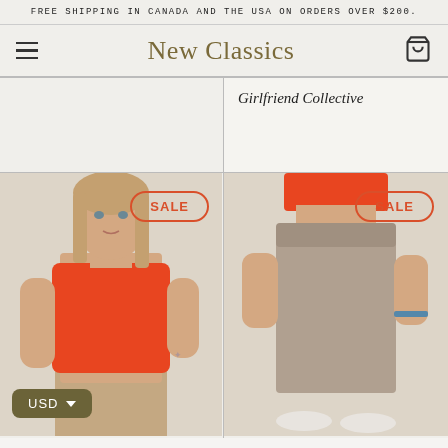FREE SHIPPING IN CANADA AND THE USA ON ORDERS OVER $200.
New Classics
Girlfriend Collective
[Figure (photo): Woman wearing orange sports bra crop top with SALE badge overlay]
[Figure (photo): Woman wearing taupe/mocha high-waist leggings with SALE badge overlay]
USD